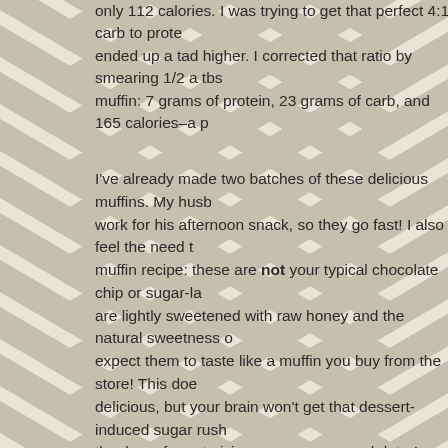only 112 calories. I was trying to get that perfect 4:1 carb to protein ratio but ended up a tad higher. I corrected that ratio by smearing 1/2 a tbs muffin: 7 grams of protein, 23 grams of carb, and 165 calories–a p
I've already made two batches of these delicious muffins. My husb work for his afternoon snack, so they go fast! I also feel the need t muffin recipe: these are not your typical chocolate chip or sugar-la are lightly sweetened with raw honey and the natural sweetness o expect them to taste like a muffin you buy from the store! This doe delicious, but your brain won't get that dessert-induced sugar rush thank me for not giving you a sugar crash later!
[Figure (photo): Broken image placeholder with link text 'Sweet Potato Orange Muffins tin']